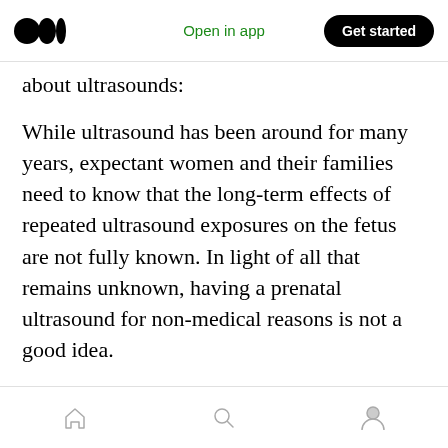Open in app | Get started
about ultrasounds:
While ultrasound has been around for many years, expectant women and their families need to know that the long-term effects of repeated ultrasound exposures on the fetus are not fully known. In light of all that remains unknown, having a prenatal ultrasound for non-medical reasons is not a good idea.
NATURE VERSUS NURTURE…THE DEBATE CONTINUES
home | search | profile